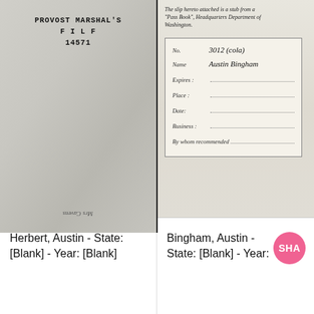[Figure (photo): Left panel: Scanned document page showing 'PROVOST MARSHAL'S FILE 14571' printed text at top center, with a faint upside-down handwritten watermark at the bottom reading 'Mrs Cavens' on a worn gray paper background.]
[Figure (photo): Right panel: Scanned document page with printed italic text at top reading 'The slip hereto attached is a stub from a Pass Book, Headquarters Department of Washington.' Below is a bordered pass book stub with handwritten fields: No. 3012 (cola), Name: Austin Bingham, and printed dotted lines for Expires, Place, Date, Business, By whom recommended.]
Herbert, Austin - State: [Blank] - Year: [Blank]
Bingham, Austin - State: [Blank] - Year: [Blank]